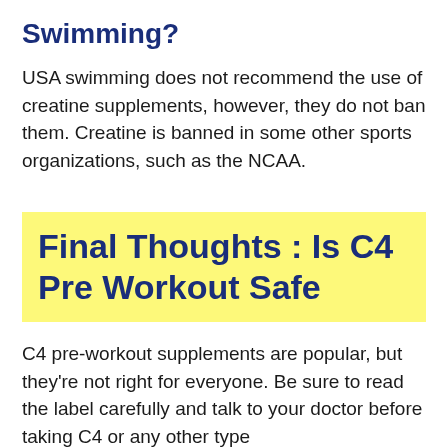Swimming?
USA swimming does not recommend the use of creatine supplements, however, they do not ban them. Creatine is banned in some other sports organizations, such as the NCAA.
Final Thoughts : Is C4 Pre Workout Safe
C4 pre-workout supplements are popular, but they're not right for everyone. Be sure to read the label carefully and talk to your doctor before taking C4 or any other type